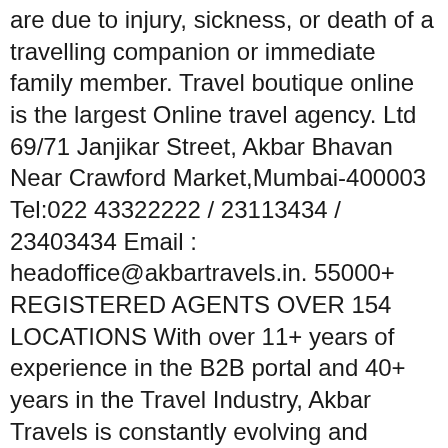are due to injury, sickness, or death of a travelling companion or immediate family member. Travel boutique online is the largest Online travel agency. Ltd 69/71 Janjikar Street, Akbar Bhavan Near Crawford Market,Mumbai-400003 Tel:022 43322222 / 23113434 / 23403434 Email : headoffice@akbartravels.in. 55000+ REGISTERED AGENTS OVER 154 LOCATIONS With over 11+ years of experience in the B2B portal and 40+ years in the Travel Industry, Akbar Travels is constantly evolving and adding value to the business. And you trusted to give you the best holiday. OTP will expire after 5 minutes. This is going to be your username. Please login to access your account With presence in GCC countries like, UAE, Qatar, KSA and Oman and the upcoming offices in Bahrain and Kuwait we have presence everywhere in GCC. Message. TBO offers the White label Solutions and B2B, B2A travel agency. We offer a complete travel management, everything from planning to execution of tours. Akbar Travels of india pvt ltd Terminus view, 1st floor, 167/169, D.N. Create your account to start booking with